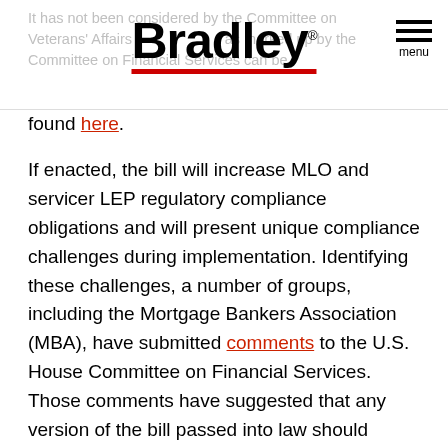Bradley logo with hamburger menu. Background text: it has not been considered by the Committee on Veterans' Affairs ... as marked up by the Committee on Financial Services can be found here.
found here.
If enacted, the bill will increase MLO and servicer LEP regulatory compliance obligations and will present unique compliance challenges during implementation. Identifying these challenges, a number of groups, including the Mortgage Bankers Association (MBA), have submitted comments to the U.S. House Committee on Financial Services. Those comments have suggested that any version of the bill passed into law should provide a federal preemption clause that provides lenders with a uniform legal